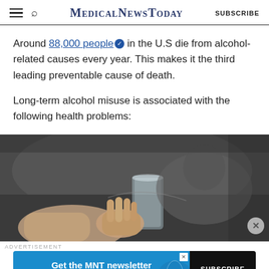MedicalNewsToday SUBSCRIBE
Around 88,000 people in the U.S die from alcohol-related causes every year. This makes it the third leading preventable cause of death.
Long-term alcohol misuse is associated with the following health problems:
[Figure (photo): A person's hand holding an empty glass, with a person lying down in the background, suggesting alcohol misuse.]
ADVERTISEMENT Get the MNT newsletter Subscribe to receive our top news articles. SUBSCRIBE